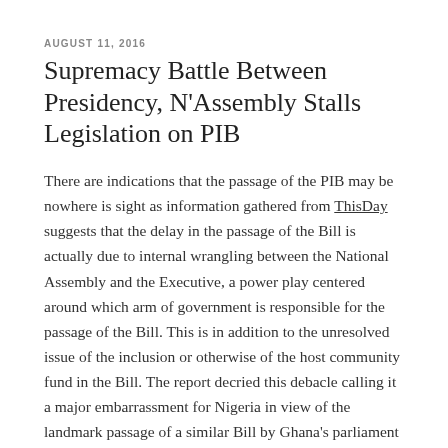AUGUST 11, 2016
Supremacy Battle Between Presidency, N'Assembly Stalls Legislation on PIB
There are indications that the passage of the PIB may be nowhere is sight as information gathered from ThisDay suggests that the delay in the passage of the Bill is actually due to internal wrangling between the National Assembly and the Executive, a power play centered around which arm of government is responsible for the passage of the Bill. This is in addition to the unresolved issue of the inclusion or otherwise of the host community fund in the Bill. The report decried this debacle calling it a major embarrassment for Nigeria in view of the landmark passage of a similar Bill by Ghana's parliament last week.
The paper went on to report that the Group Managing